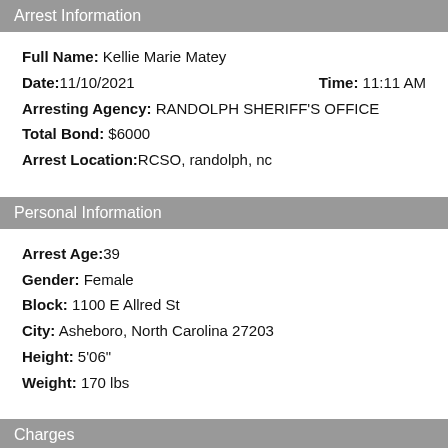Arrest Information
Full Name: Kellie Marie Matey
Date: 11/10/2021   Time: 11:11 AM
Arresting Agency: RANDOLPH SHERIFF'S OFFICE
Total Bond: $6000
Arrest Location: RCSO, randolph, nc
Personal Information
Arrest Age: 39
Gender: Female
Block: 1100 E Allred St
City: Asheboro, North Carolina 27203
Height: 5'06"
Weight: 170 lbs
Charges
#1 Failure To Appear On Misdemeanor